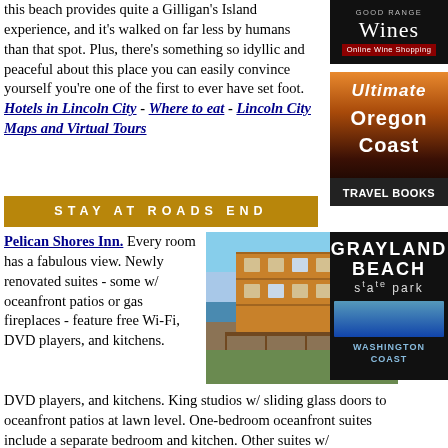this beach provides quite a Gilligan's Island experience, and it's walked on far less by humans than that spot. Plus, there's something so idyllic and peaceful about this place you can easily convince yourself you're one of the first to ever have set foot. Hotels in Lincoln City - Where to eat - Lincoln City Maps and Virtual Tours
[Figure (other): Online wine shopping advertisement - dark background with 'Good Range Wines Online Wine Shopping']
[Figure (other): Ultimate Oregon Coast Travel Books advertisement - sunset/coastal background with orange and dark tones]
STAY AT ROADS END
Pelican Shores Inn. Every room has a fabulous view. Newly renovated suites - some w/ oceanfront patios or gas fireplaces - feature free Wi-Fi, DVD players, and kitchens. King studios w/ sliding glass doors to oceanfront patios at lawn level. One-bedroom oceanfront suites include a separate bedroom and kitchen. Other suites w/ two bedrooms, living area, two bathrooms and more. Stunning heated indoor pool, complimentary continental breakfast, DVD's for rent, guest laundry, and barbecues. 2645 NW Inlet Ave. Lincoln City (a few miles from Depoe Bay, Oregon) 800-705
[Figure (photo): Pelican Shores Inn exterior photo - multi-story oceanfront hotel building at sunset with beach view]
[Figure (other): Grayland Beach State Park Washington Coast advertisement]